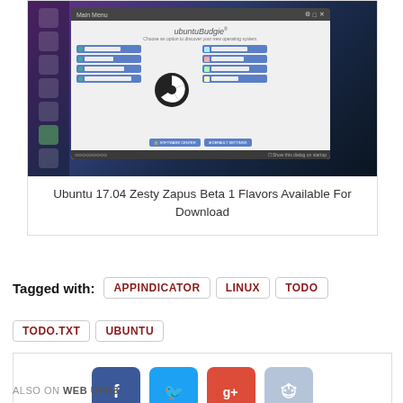[Figure (screenshot): Ubuntu Budgie 17.04 desktop screenshot showing the main welcome menu with navigation options, logo, and taskbar]
Ubuntu 17.04 Zesty Zapus Beta 1 Flavors Available For Download
Tagged with: APPINDICATOR LINUX TODO TODO.TXT UBUNTU
[Figure (infographic): Social sharing buttons: Facebook, Twitter, Google+, Reddit]
ALSO ON WEB UPD8